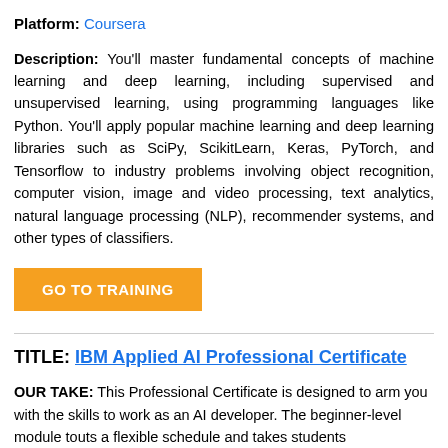Platform: Coursera
Description: You'll master fundamental concepts of machine learning and deep learning, including supervised and unsupervised learning, using programming languages like Python. You'll apply popular machine learning and deep learning libraries such as SciPy, ScikitLearn, Keras, PyTorch, and Tensorflow to industry problems involving object recognition, computer vision, image and video processing, text analytics, natural language processing (NLP), recommender systems, and other types of classifiers.
[Figure (other): Orange button labeled GO TO TRAINING]
TITLE: IBM Applied AI Professional Certificate
OUR TAKE: This Professional Certificate is designed to arm you with the skills to work as an AI developer. The beginner-level module touts a flexible schedule and takes students